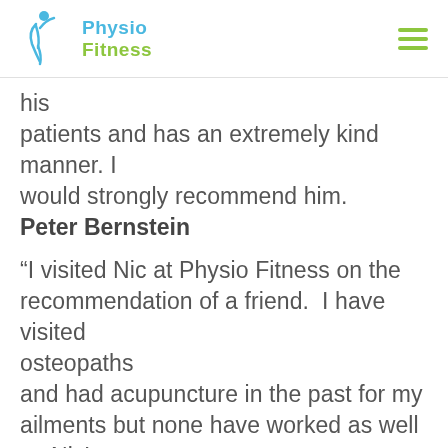[Figure (logo): Physio Fitness logo with stylized figure and green/blue text]
his patients and has an extremely kind manner. I would strongly recommend him.
Peter Bernstein
“I visited Nic at Physio Fitness on the recommendation of a friend.  I have visited osteopaths and had acupuncture in the past for my ailments but none have worked as well as Nic’s treatment.  A friendly and extremely helpful service backed up by hands on treatment that actually works. I have recommended Physio Fitness to a few friends who have been delighted at the